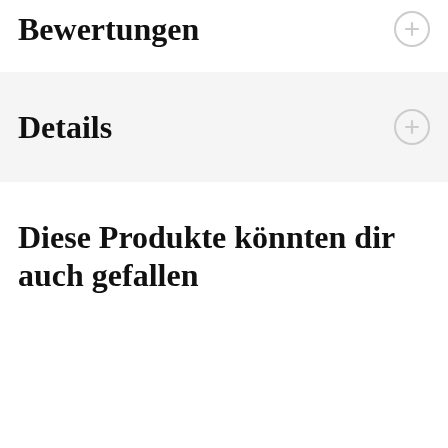Bewertungen
Details
Diese Produkte könnten dir auch gefallen